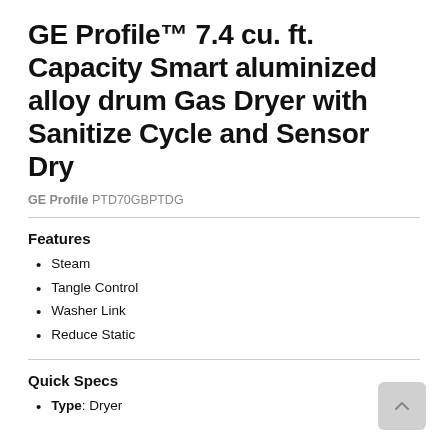GE Profile™ 7.4 cu. ft. Capacity Smart aluminized alloy drum Gas Dryer with Sanitize Cycle and Sensor Dry
GE Profile PTD70GBPTDG
Features
Steam
Tangle Control
Washer Link
Reduce Static
Quick Specs
Type: Dryer